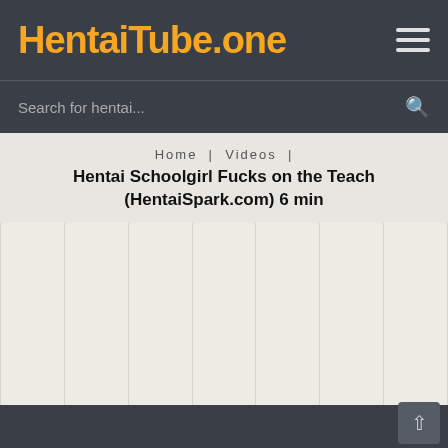HentaiTube.one
Search for hentai...
Home | Videos |
Hentai Schoolgirl Fucks on the Teach (HentaiSpark.com) 6 min
[Figure (other): Grid layout of video thumbnail placeholders, empty columns separated by vertical lines on a light beige background]